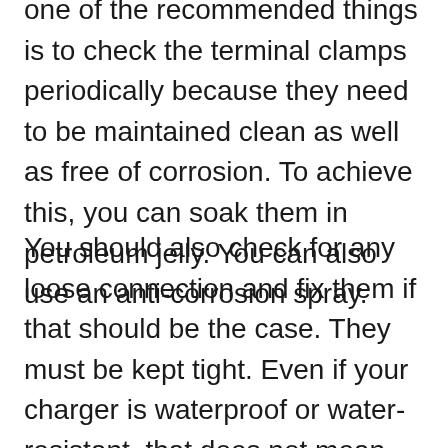one of the recommended things is to check the terminal clamps periodically because they need to be maintained clean as well as free of corrosion. To achieve this, you can soak them in petroleum jelly. You can also use an anti-corrosion spray.
You should also check for any loose connection and fix them if that should be the case. They must be kept tight. Even if your charger is waterproof or water-resistant, that does not mean that you can soak it in water.
Try to keep it as dry as possible and store it in a place on your boat where not so much water can enter. Moreover, you should not keep the unit in direct sunlight. Usually, you should keep it in a